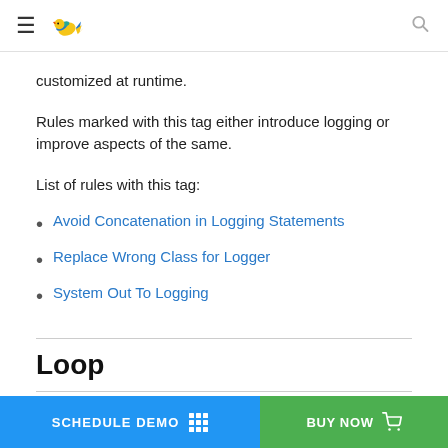Navigation header with hamburger menu, bird logo, and search icon
customized at runtime.
Rules marked with this tag either introduce logging or improve aspects of the same.
List of rules with this tag:
Avoid Concatenation in Logging Statements
Replace Wrong Class for Logger
System Out To Logging
Loop
A loop is an instruction that repeats until a specified condition is ... d b...